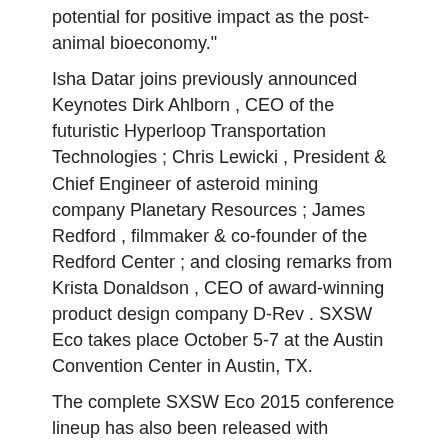potential for positive impact as the post-animal bioeconomy."
Isha Datar joins previously announced Keynotes Dirk Ahlborn , CEO of the futuristic Hyperloop Transportation Technologies ; Chris Lewicki , President & Chief Engineer of asteroid mining company Planetary Resources ; James Redford , filmmaker & co-founder of the Redford Center ; and closing remarks from Krista Donaldson , CEO of award-winning product design company D-Rev . SXSW Eco takes place October 5-7 at the Austin Convention Center in Austin, TX.
The complete SXSW Eco 2015 conference lineup has also been released with speakers that include:
Dr. David Danielson ( US Department of Energy ), Dr. Ellen Williams ( ARPA-E ), Dr. Robert Fraley ( Monsanto ), Badar Kahn ( Direct Energy ), Hunter Lovins ( Principium ), Daniel Lee ( Levi Strauss Foundation ), Amy Chan ( Apple ), Deb Frodl ( GE Ecomagination ), Colin Lee ( Cargill Tropical Palm ), Cliff Curry ( Curry Stone Design Prize ), Anne